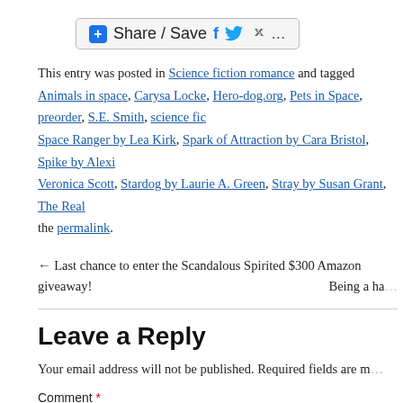[Figure (other): Share/Save social button with Facebook, Twitter, and other sharing icons]
This entry was posted in Science fiction romance and tagged Animals in space, Carysa Locke, Hero-dog.org, Pets in Space, preorder, S.E. Smith, science fiction, Space Ranger by Lea Kirk, Spark of Attraction by Cara Bristol, Spike by Alexi (truncated), Veronica Scott, Stardog by Laurie A. Green, Stray by Susan Grant, The Real... the permalink.
← Last chance to enter the Scandalous Spirited $300 Amazon giveaway!    Being a ha...
Leave a Reply
Your email address will not be published. Required fields are m...
Comment *